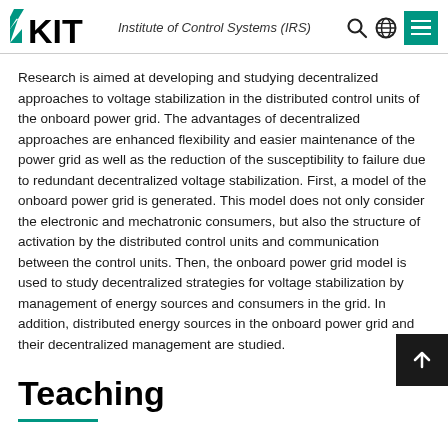KIT — Institute of Control Systems (IRS)
Research is aimed at developing and studying decentralized approaches to voltage stabilization in the distributed control units of the onboard power grid. The advantages of decentralized approaches are enhanced flexibility and easier maintenance of the power grid as well as the reduction of the susceptibility to failure due to redundant decentralized voltage stabilization. First, a model of the onboard power grid is generated. This model does not only consider the electronic and mechatronic consumers, but also the structure of activation by the distributed control units and communication between the control units. Then, the onboard power grid model is used to study decentralized strategies for voltage stabilization by management of energy sources and consumers in the grid. In addition, distributed energy sources in the onboard power grid and their decentralized management are studied.
Teaching